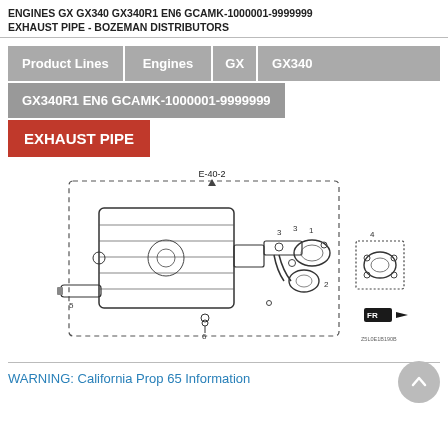ENGINES GX GX340 GX340R1 EN6 GCAMK-1000001-9999999
EXHAUST PIPE - BOZEMAN DISTRIBUTORS
Product Lines | Engines | GX | GX340
GX340R1 EN6 GCAMK-1000001-9999999
EXHAUST PIPE
[Figure (engineering-diagram): Exploded diagram of exhaust pipe assembly for Honda GX340R1 engine, showing numbered parts including muffler, pipe sections, gaskets, bolts and flanges. Diagram labeled E-40-2 with parts 1-6 identified. Includes FR direction indicator badge and part code Z5L0E1B190B.]
WARNING: California Prop 65 Information